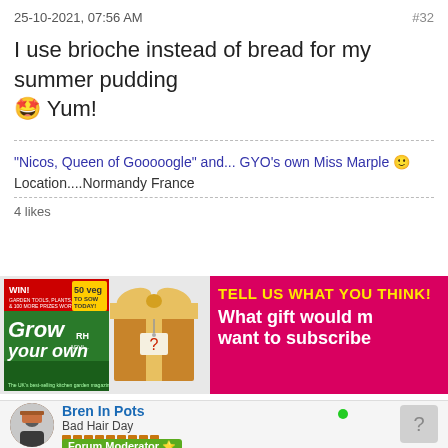25-10-2021, 07:56 AM
#32
I use brioche instead of bread for my summer pudding 🤩 Yum!
"Nicos, Queen of Gooooogle" and... GYO's own Miss Marple 🙂
Location....Normandy France
4 likes
[Figure (infographic): Advertisement banner for Grow Your Own magazine showing magazine cover on left, a wrapped gift box with question mark tag in center, and pink/magenta background on right with text: TELL US WHAT YOU THINK! What gift would m... want to subscribe...]
Bren In Pots
Bad Hair Day
Forum Moderator ⭐